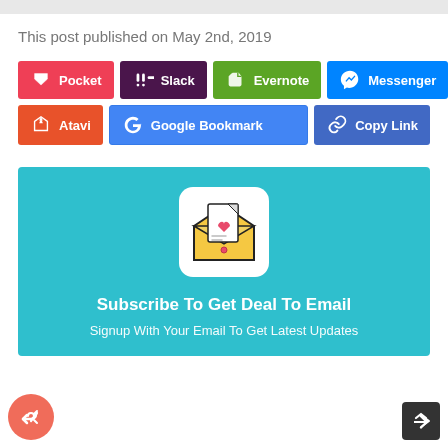This post published on May 2nd, 2019
[Figure (infographic): Social sharing buttons: Pocket, Slack, Evernote, Messenger, Atavi, Google Bookmark, Copy Link]
[Figure (illustration): Email subscription box with envelope/heart icon, title 'Subscribe To Get Deal To Email', subtitle 'Signup With Your Email To Get Latest Updates']
Subscribe To Get Deal To Email
Signup With Your Email To Get Latest Updates